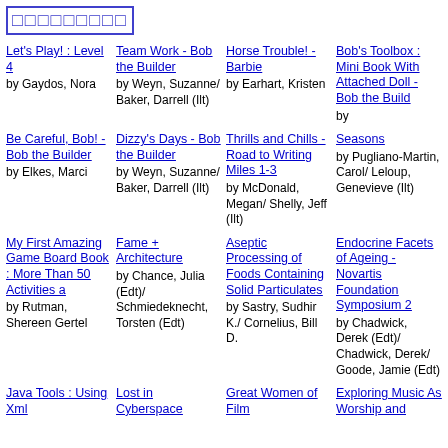□□□□□□□□□
Let's Play! : Level 4 by Gaydos, Nora
Team Work - Bob the Builder by Weyn, Suzanne/ Baker, Darrell (Ilt)
Horse Trouble! - Barbie by Earhart, Kristen
Bob's Toolbox : Mini Book With Attached Doll - Bob the Build by
Be Careful, Bob! - Bob the Builder by Elkes, Marci
Dizzy's Days - Bob the Builder by Weyn, Suzanne/ Baker, Darrell (Ilt)
Thrills and Chills - Road to Writing Miles 1-3 by McDonald, Megan/ Shelly, Jeff (Ilt)
Seasons by Pugliano-Martin, Carol/ Leloup, Genevieve (Ilt)
My First Amazing Game Board Book : More Than 50 Activities a by Rutman, Shereen Gertel
Fame + Architecture by Chance, Julia (Edt)/ Schmiedeknecht, Torsten (Edt)
Aseptic Processing of Foods Containing Solid Particulates by Sastry, Sudhir K./ Cornelius, Bill D.
Endocrine Facets of Ageing - Novartis Foundation Symposium 2 by Chadwick, Derek (Edt)/ Chadwick, Derek/ Goode, Jamie (Edt)
Java Tools : Using Xml...
Lost in Cyberspace...
Great Women of Film...
Exploring Music As Worship and...